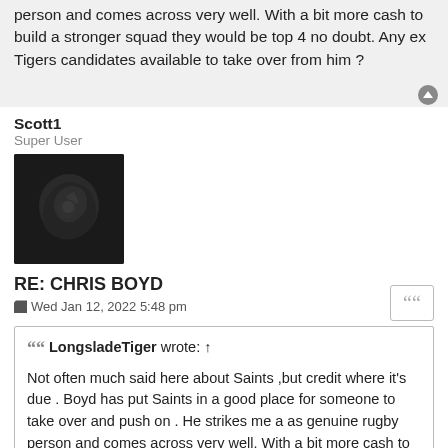person and comes across very well. With a bit more cash to build a stronger squad they would be top 4 no doubt. Any ex Tigers candidates available to take over from him ?
Scott1
Super User
[Figure (photo): Dark avatar image with abstract bird/eagle graphic on dark background]
RE: CHRIS BOYD
Wed Jan 12, 2022 5:48 pm
LongsladeTiger wrote: ↑
Not often much said here about Saints ,but credit where it's due . Boyd has put Saints in a good place for someone to take over and push on . He strikes me a as genuine rugby person and comes across very well. With a bit more cash to build a stronger squad they would be top 4 no doubt. Any ex Tigers candidates available to take over from him ?